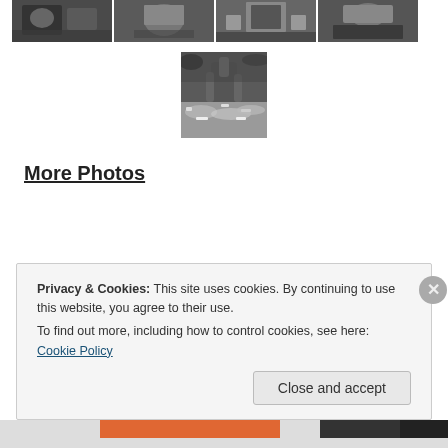[Figure (photo): Row of four black and white thumbnail photos at top of page]
[Figure (photo): Centered black and white photo showing a person with fish/seafood at a market]
More Photos
Privacy & Cookies: This site uses cookies. By continuing to use this website, you agree to their use.
To find out more, including how to control cookies, see here: Cookie Policy